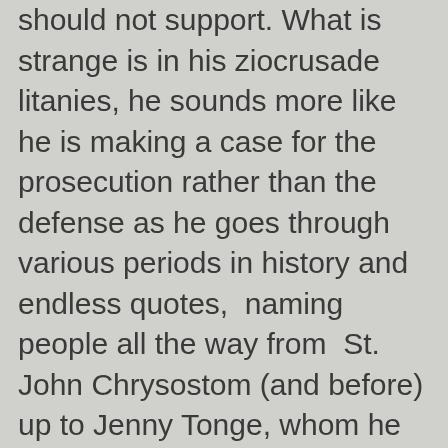should not support. What is strange is in his ziocrusade litanies, he sounds more like he is making a case for the prosecution rather than the defense as he goes through various periods in history and endless quotes,  naming people all the way from  St. John Chrysostom (and before) up to Jenny Tonge, whom he quotes  as well for saying she understood the mentality of suicide bombers, having to live as they do http://en.wikipedia.org/wiki/Jenny_Tonge#Controversial_remarks_about_Israel There's better stuff out there about her, but this is probably why she